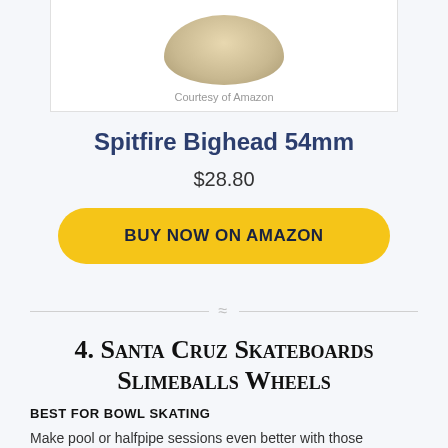[Figure (photo): Product image of Spitfire Bighead 54mm skateboard wheels, shown partially at top of page]
Courtesy of Amazon
Spitfire Bighead 54mm
$28.80
BUY NOW ON AMAZON
4. Santa Cruz Skateboards Slimeballs Wheels
BEST FOR BOWL SKATING
Make pool or halfpipe sessions even better with those